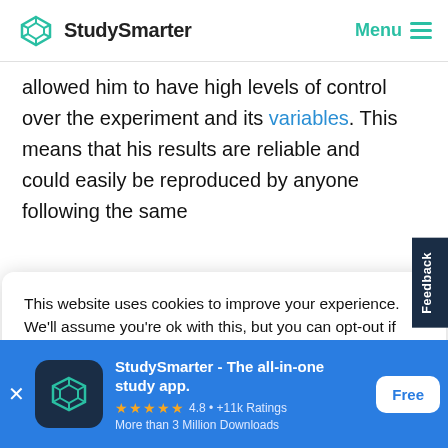StudySmarter  Menu
allowed him to have high levels of control over the experiment and its variables. This means that his results are reliable and could easily be reproduced by anyone following the same
This website uses cookies to improve your experience. We'll assume you're ok with this, but you can opt-out if you wish.
Accept
StudySmarter - The all-in-one study app.  ★★★★★ 4.8 • +11k Ratings  More than 3 Million Downloads  Free